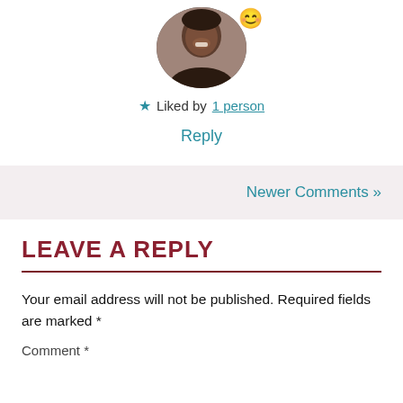[Figure (photo): Profile photo of a person with a smiley face emoji badge in the upper right]
★ Liked by 1 person
Reply
Newer Comments »
LEAVE A REPLY
Your email address will not be published. Required fields are marked *
Comment *